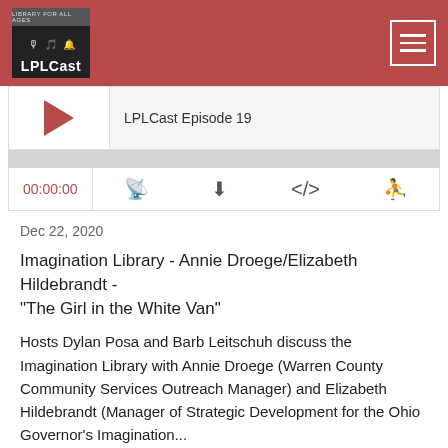LPLCast
[Figure (screenshot): Podcast player widget showing LPLCast Episode 19 with play button, progress bar, time display 00:00:00, and control icons for RSS, download, embed, and sharing]
Dec 22, 2020
Imagination Library - Annie Droege/Elizabeth Hildebrandt - "The Girl in the White Van"
Hosts Dylan Posa and Barb Leitschuh discuss the Imagination Library with Annie Droege (Warren County Community Services Outreach Manager) and Elizabeth Hildebrandt (Manager of Strategic Development for the Ohio Governor's Imagination...
Read More
LPLCast Episode 18